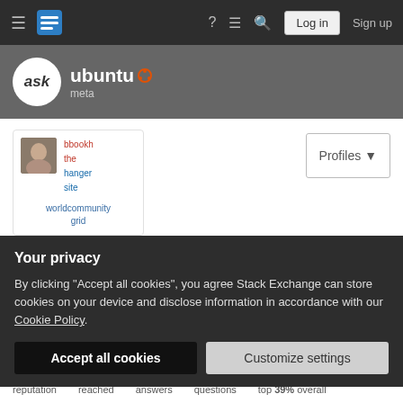Ask Ubuntu Meta — navigation bar with Log in and Sign up buttons
[Figure (screenshot): Ask Ubuntu Meta site logo with speech bubble and Ubuntu circle logo]
[Figure (screenshot): User profile avatar card showing bbookh, the hanger site, worldcommunity grid]
tgkprog
Member for 9 years, 2 months   Last seen more than a month ago
Your privacy
By clicking "Accept all cookies", you agree Stack Exchange can store cookies on your device and disclose information in accordance with our Cookie Policy.
Accept all cookies   Customize settings
reputation   reached   answers   questions   top 39% overall